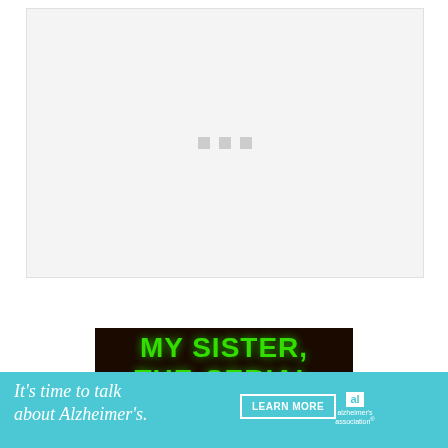[Figure (screenshot): A large light gray content box with three small gray loading indicator squares centered in it, on a white background]
[Figure (photo): Book cover showing 'MY SISTER, THE SERIAL' in large bold green glowing text on a very dark brown/black background]
[Figure (infographic): Advertisement banner in teal/turquoise color reading 'It's time to talk about Alzheimer's.' with a LEARN MORE button and the Alzheimer's Association logo, plus a close X button and Goodreads logo]